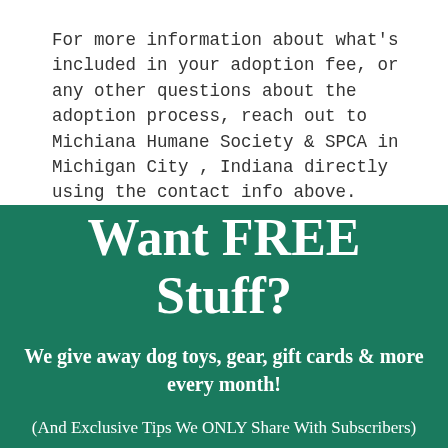For more information about what's included in your adoption fee, or any other questions about the adoption process, reach out to Michiana Humane Society & SPCA in Michigan City , Indiana directly using the contact info above.
Want FREE Stuff?
We give away dog toys, gear, gift cards & more every month!
(And Exclusive Tips We ONLY Share With Subscribers)